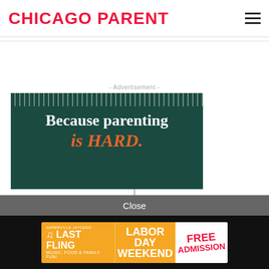CHICAGO PARENT
- Advertisement -
[Figure (other): Dark green advertisement banner with text 'Because parenting is HARD.' on teal/dark green background with dotted top border]
Close
[Figure (other): Naperville Jaycees Last Fling - Labor Day Weekend - Free Admission advertisement banner on orange and white background]